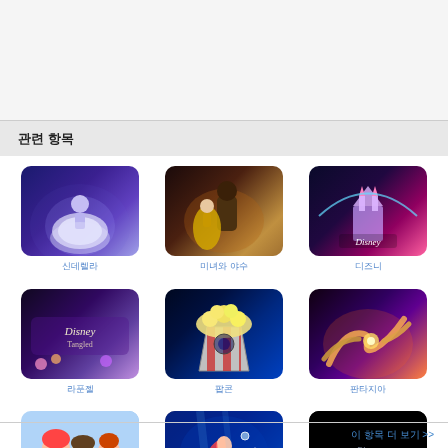관련 항목
[Figure (illustration): Cinderella movie art - glowing blue dress]
신데렐라
[Figure (illustration): Beauty and the Beast movie art]
미녀와 야수
[Figure (illustration): Disney castle with pink/purple sky]
디즈니
[Figure (illustration): Tangled movie poster]
라푼젤
[Figure (illustration): Popcorn bucket on dark blue background]
팝콘
[Figure (illustration): Fantasy orange-purple glowing art]
판타지아
[Figure (illustration): Ariel and friends from The Little Mermaid]
청소 업체 발레리나와 인어 공주 에리얼 의 만남
[Figure (illustration): Little mermaid swimming underwater]
인어공주
[Figure (illustration): Frozen movie logo on black background]
겨울왕국
이 항목 더 보기 >>